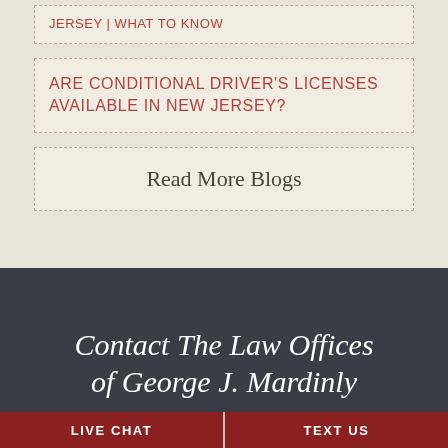JERSEY | WHAT TO KNOW
ARE CONDITIONAL DRIVER'S LICENSES AVAILABLE IN NEW JERSEY?
Read More Blogs
Contact The Law Offices of George J. Mardinly
LIVE CHAT
TEXT US